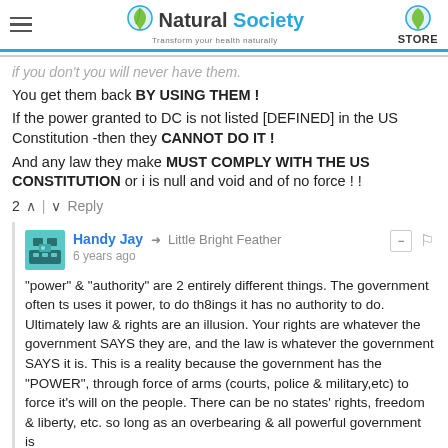Natural Society — Transform your health naturally — STORE
If you don't you will never have them. You get them back BY USING THEM ! If the power granted to DC is not listed [DEFINED] in the US Constitution -then they CANNOT DO IT ! And any law they make MUST COMPLY WITH THE US CONSTITUTION or i is null and void and of no force ! !
2 ^ | v Reply
Handy Jay → Little Bright Feather
6 years ago
"power" & "authority" are 2 entirely different things. The government often ts uses it power, to do th8ings it has no authority to do. Ultimately law & rights are an illusion. Your rights are whatever the government SAYS they are, and the law is whatever the government SAYS it is. This is a reality because the government has the "POWER", through force of arms (courts, police & military,etc) to force it's will on the people. There can be no states' rights, freedom & liberty, etc. so long as an overbearing & all powerful government is